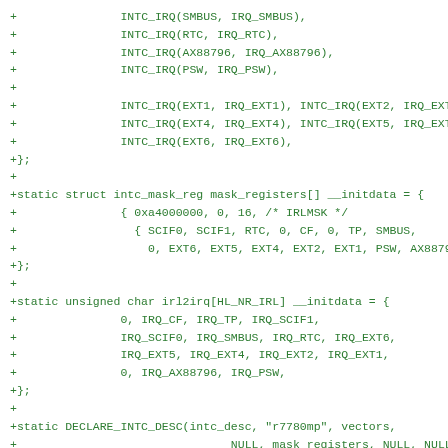+		INTC_IRQ(SMBUS, IRQ_SMBUS),
+		INTC_IRQ(RTC, IRQ_RTC),
+		INTC_IRQ(AX88796, IRQ_AX88796),
+		INTC_IRQ(PSW, IRQ_PSW),
+
+		INTC_IRQ(EXT1, IRQ_EXT1), INTC_IRQ(EXT2, IRQ_EXT2),
+		INTC_IRQ(EXT4, IRQ_EXT4), INTC_IRQ(EXT5, IRQ_EXT5),
+		INTC_IRQ(EXT6, IRQ_EXT6),
+};
+
+static struct intc_mask_reg mask_registers[] __initdata = {
+		{ 0xa4000000, 0, 16, /* IRLMSK */
+		  { SCIF0, SCIF1, RTC, 0, CF, 0, TP, SMBUS,
+		    0, EXT6, EXT5, EXT4, EXT2, EXT1, PSW, AX88796 } }
+};
+
+static unsigned char irl2irq[HL_NR_IRL] __initdata = {
+		0, IRQ_CF, IRQ_TP, IRQ_SCIF1,
+		IRQ_SCIF0, IRQ_SMBUS, IRQ_RTC, IRQ_EXT6,
+		IRQ_EXT5, IRQ_EXT4, IRQ_EXT2, IRQ_EXT1,
+		0, IRQ_AX88796, IRQ_PSW,
+};
+
+static DECLARE_INTC_DESC(intc_desc, "r7780mp", vectors,
+					NULL, mask_registers, NULL, NULL);